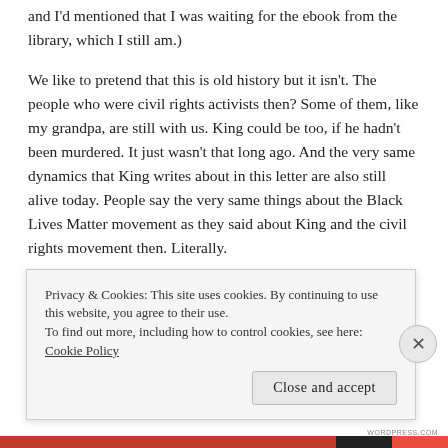and I'd mentioned that I was waiting for the ebook from the library, which I still am.)
We like to pretend that this is old history but it isn't. The people who were civil rights activists then? Some of them, like my grandpa, are still with us. King could be too, if he hadn't been murdered. It just wasn't that long ago. And the very same dynamics that King writes about in this letter are also still alive today. People say the very same things about the Black Lives Matter movement as they said about King and the civil rights movement then. Literally.
Privacy & Cookies: This site uses cookies. By continuing to use this website, you agree to their use.
To find out more, including how to control cookies, see here: Cookie Policy
Close and accept